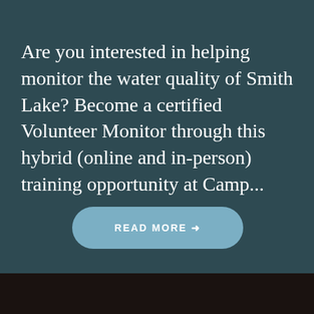Are you interested in helping monitor the water quality of Smith Lake? Become a certified Volunteer Monitor through this hybrid (online and in-person) training opportunity at Camp...
READ MORE →